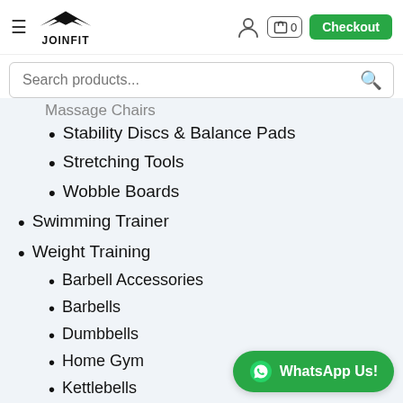[Figure (logo): JOINFIT logo with stylized bird/wings mark above the text JOINFIT]
JOINFIT header navigation with hamburger menu, logo, user icon, cart (0), and Checkout button
Search products...
Massage Chairs (partially visible, cut off)
Stability Discs & Balance Pads
Stretching Tools
Wobble Boards
Swimming Trainer
Weight Training
Barbell Accessories
Barbells
Dumbbells
Home Gym
Kettlebells
[Figure (other): WhatsApp Us! green button with WhatsApp icon]